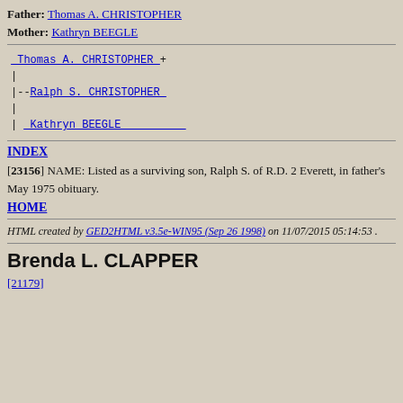Father: Thomas A. CHRISTOPHER
Mother: Kathryn BEEGLE
Thomas A. CHRISTOPHER +
|
|--Ralph S. CHRISTOPHER
|
| Kathryn BEEGLE
INDEX
[23156] NAME: Listed as a surviving son, Ralph S. of R.D. 2 Everett, in father's May 1975 obituary.
HOME
HTML created by GED2HTML v3.5e-WIN95 (Sep 26 1998) on 11/07/2015 05:14:53 .
Brenda L. CLAPPER
[21179]